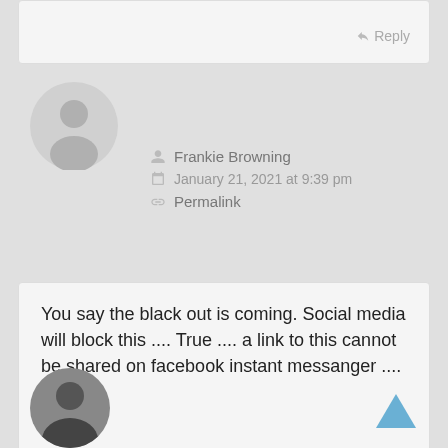Reply
[Figure (illustration): Gray default user avatar circle with person silhouette]
Frankie Browning
January 21, 2021 at 9:39 pm
Permalink
You say the black out is coming. Social media will block this .... True .... a link to this cannot be shared on facebook instant messanger .... I tried ...
Reply
[Figure (photo): Partial photo of a person, grayscale, bottom of page]